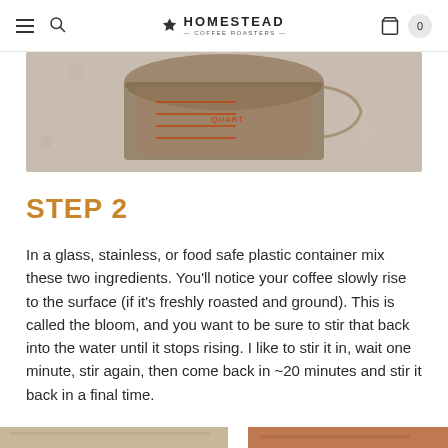HOMESTEAD COFFEE ROASTERS
[Figure (photo): Close-up photo of a glass measuring cup with red measurement markings on a granite countertop]
STEP 2
In a glass, stainless, or food safe plastic container mix these two ingredients. You'll notice your coffee slowly rise to the surface (if it's freshly roasted and ground). This is called the bloom, and you want to be sure to stir that back into the water until it stops rising. I like to stir it in, wait one minute, stir again, then come back in ~20 minutes and stir it back in a final time.
[Figure (photo): Partial photo at bottom of page showing coffee preparation]